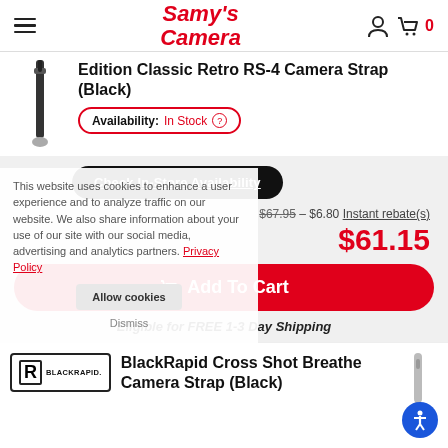Samy's Camera
Edition Classic Retro RS-4 Camera Strap (Black)
Availability: In Stock
Check In-Store Availability
$67.95 - $6.80 Instant rebate(s)
$61.15
Add To Cart
Eligible for FREE 1-3 Day Shipping
This website uses cookies to enhance user experience and to analyze traffic on our website. We also share information about your use of our site with our social media, advertising and analytics partners. Privacy Policy
Allow cookies
Dismiss
[Figure (logo): BlackRapid logo in a bordered box with stylized R and BLACKRAPID. text]
BlackRapid Cross Shot Breathe Camera Strap (Black)